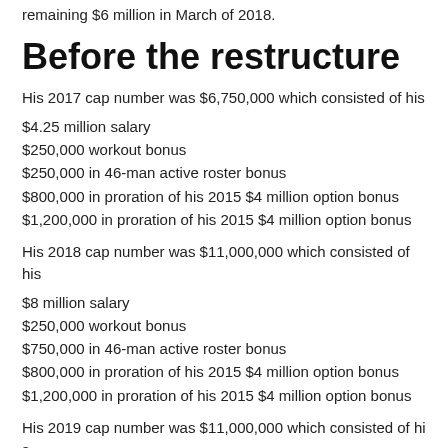remaining $6 million in March of 2018.
Before the restructure
His 2017 cap number was $6,750,000 which consisted of his
$4.25 million salary
$250,000 workout bonus
$250,000 in 46-man active roster bonus
$800,000 in proration of his 2015 $4 million option bonus
$1,200,000 in proration of his 2015 $4 million option bonus
His 2018 cap number was $11,000,000 which consisted of his
$8 million salary
$250,000 workout bonus
$750,000 in 46-man active roster bonus
$800,000 in proration of his 2015 $4 million option bonus
$1,200,000 in proration of his 2015 $4 million option bonus
His 2019 cap number was $11,000,000 which consisted of his